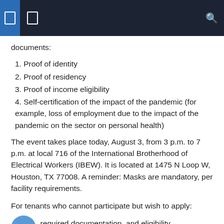documents:
1. Proof of identity
2. Proof of residency
3. Proof of income eligibility
4. Self-certification of the impact of the pandemic (for example, loss of employment due to the impact of the pandemic on the sector on personal health)
The event takes place today, August 3, from 3 p.m. to 7 p.m. at local 716 of the International Brotherhood of Electrical Workers (IBEW). It is located at 1475 N Loop W, Houston, TX 77008. A reminder: Masks are mandatory, per facility requirements.
For tenants who cannot participate but wish to apply: FAQs, required documentation, and eligibility requirements can be